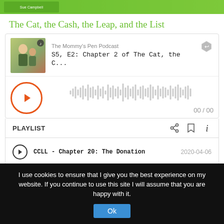[Figure (illustration): Book cover thumbnail with green background and author name Sue Campbell]
The Cat, the Cash, the Leap, and the List
[Figure (screenshot): Podcast player widget for The Mommy's Pen Podcast, episode S5, E2: Chapter 2 of The Cat, the C... with waveform and time display 00 / 00]
PLAYLIST with share, bookmark, and info icons
CCLL - Chapter 20: The Donation  2020-04-06
CCLL - Chapter 19: Unfinished Busi...  2020-04-05
I use cookies to ensure that I give you the best experience on my website. If you continue to use this site I will assume that you are happy with it.